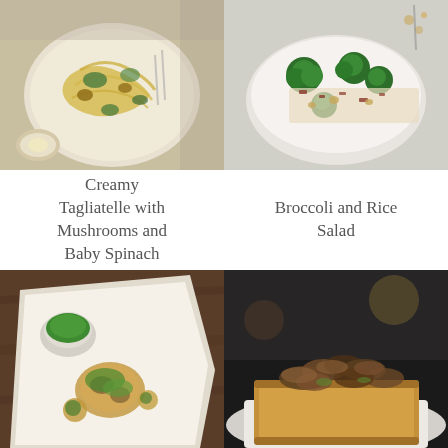[Figure (photo): Overhead view of creamy tagliatelle pasta with mushrooms and baby spinach on a white speckled plate, with a small dish of parmesan and forks on a linen cloth]
[Figure (photo): White bowl filled with broccoli and rice salad with bacon bits and nuts on a light wooden surface]
Creamy Tagliatelle with Mushrooms and Baby Spinach
Broccoli and Rice Salad
[Figure (photo): Grilled cauliflower or vegetable dish on white parchment paper on a wooden board with a small cup of green herb sauce]
[Figure (photo): Mushrooms on toast — sautéed mixed mushrooms piled on a thick slice of toasted bread on a white plate with dark background]